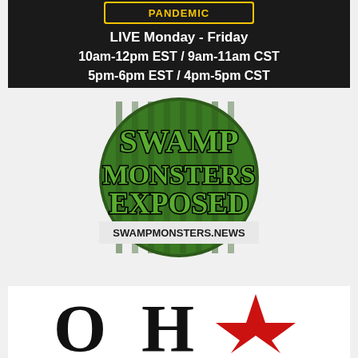[Figure (illustration): Dark banner with yellow bordered logo at top, white text reading 'LIVE Monday - Friday 10am-12pm EST / 9am-11am CST 5pm-6pm EST / 4pm-5pm CST']
[Figure (logo): Circular green logo with black text reading 'SWAMP MONSTERS EXPOSED' and URL 'SWAMPMONSTERS.NEWS' at the bottom]
[Figure (logo): White background banner with large black letters 'OH' and a red star, partial view]